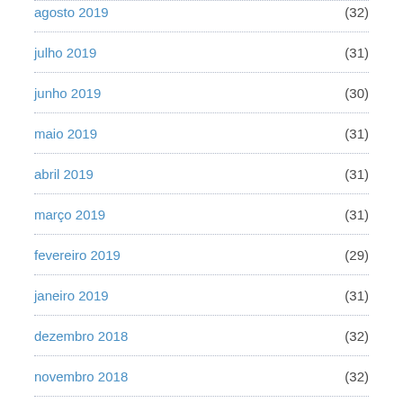agosto 2019 (32)
julho 2019 (31)
junho 2019 (30)
maio 2019 (31)
abril 2019 (31)
março 2019 (31)
fevereiro 2019 (29)
janeiro 2019 (31)
dezembro 2018 (32)
novembro 2018 (32)